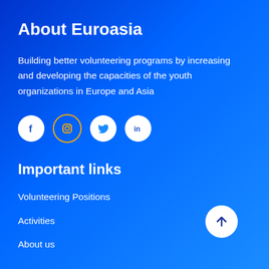About Euroasia
Building better volunteering programs by increasing and developing the capacities of the youth organizations in Europe and Asia
[Figure (infographic): Four social media icon circles: Facebook (white circle with f icon), Instagram (outlined circle with camera icon in orange), Twitter (white circle with bird icon), LinkedIn (white circle with in icon)]
Important links
Volunteering Positions
Activities
About us
[Figure (illustration): White circle button with upward arrow icon for back to top]